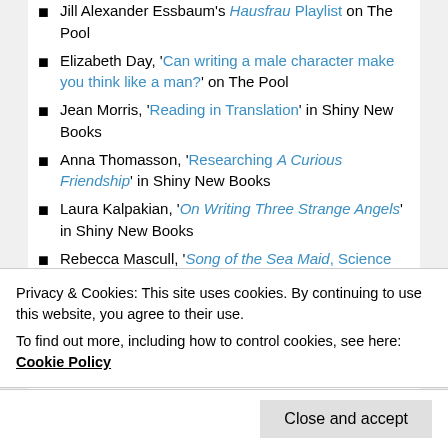Jill Alexander Essbaum's Hausfrau Playlist on The Pool
Elizabeth Day, 'Can writing a male character make you think like a man?' on The Pool
Jean Morris, 'Reading in Translation' in Shiny New Books
Anna Thomasson, 'Researching A Curious Friendship' in Shiny New Books
Laura Kalpakian, 'On Writing Three Strange Angels' in Shiny New Books
Rebecca Mascull, 'Song of the Sea Maid, Science and Setting' in Shiny New Books
Claire Fuller, 'The Writing of Our Endless Numbered Days' in Shiny New Books
Adèle Geras, 'A Strange Phenomenon' (on Dorothy
Privacy & Cookies: This site uses cookies. By continuing to use this website, you agree to their use.
To find out more, including how to control cookies, see here: Cookie Policy
Close and accept
on Three Percent